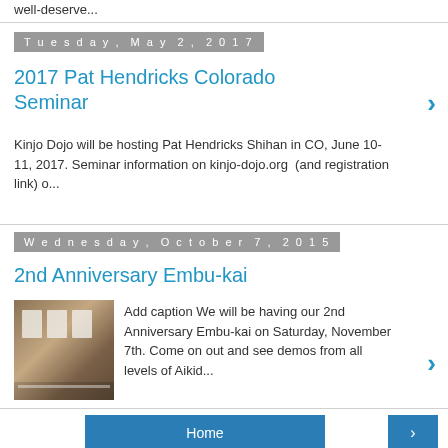well-deserve...
Tuesday, May 2, 2017
2017 Pat Hendricks Colorado Seminar
Kinjo Dojo will be hosting Pat Hendricks Shihan in CO, June 10-11, 2017. Seminar information on kinjo-dojo.org  (and registration link) o...
Wednesday, October 7, 2015
2nd Anniversary Embu-kai
[Figure (photo): Photo of people in white gi doing Aikido, seated on the floor of a dojo]
Add caption We will be having our 2nd Anniversary Embu-kai on Saturday, November 7th. Come on out and see demos from all levels of Aikid...
Home
View web version
Powered by Blog...